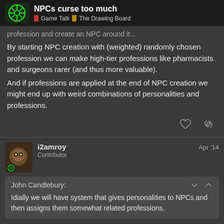NPCs curse too much — Game Talk | The Drawing Board
profession and create an NPC around it.
By starting NPC creation with (weighted) randomly chosen profession we can make high-tier professions like pharmacists and surgeons rarer (and thus more valuable).
And if professions are applied at the end of NPC creation we might end up with weird combinations of personalities and professions.
i2amroy — Contributor — Apr '14
John Candlebury:
Idially we will have system that gives personalities to NPCs and then assigns them somewhat related professions.
This would be cool.
4 / 16